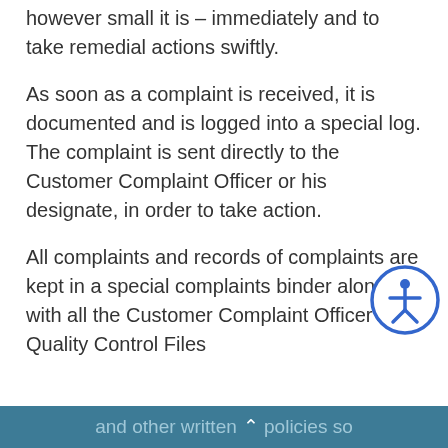however small it is — immediately and to take remedial actions swiftly.
As soon as a complaint is received, it is documented and is logged into a special log. The complaint is sent directly to the Customer Complaint Officer or his designate, in order to take action.
All complaints and records of complaints are kept in a special complaints binder along with all the Customer Complaint Officer's Quality Control Files
and other written policies so